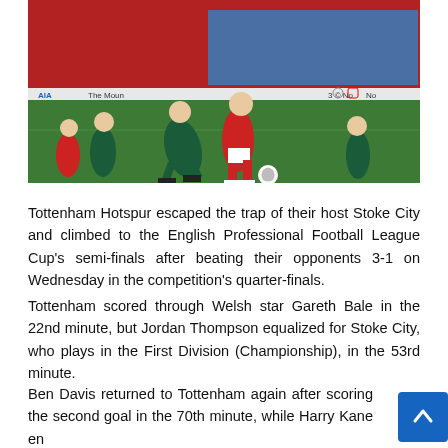[Figure (photo): Football match action photo showing Tottenham Hotspur players in dark green/teal kits and Stoke City players in red and white kits during a match. Players are competing for the ball on a green pitch with stadium seating visible in the background.]
Tottenham Hotspur escaped the trap of their host Stoke City and climbed to the English Professional Football League Cup's semi-finals after beating their opponents 3-1 on Wednesday in the competition's quarter-finals.
Tottenham scored through Welsh star Gareth Bale in the 22nd minute, but Jordan Thompson equalized for Stoke City, who plays in the First Division (Championship), in the 53rd minute.
Ben Davis returned to Tottenham again after scoring the second goal in the 70th minute, while Harry Kane ensured scoring the third goal in the 81st minute.